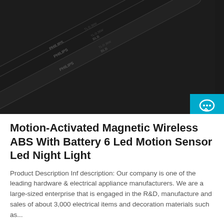[Figure (photo): Three Philips TL-D 36W BLB black fluorescent tube lights with gold pins, arranged diagonally on a dark background]
Motion-Activated Magnetic Wireless ABS With Battery 6 Led Motion Sensor Led Night Light
Product Description Inf description: Our company is one of the leading hardware & electrical appliance manufacturers. We are a large-sized enterprise that is engaged in the R&D, manufacture and sales of about 3,000 electrical items and decoration materials such as...
Get Price